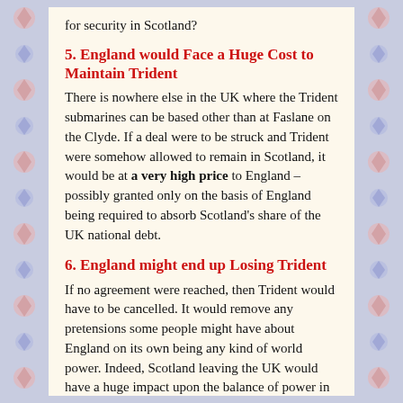for security in Scotland?
5. England would Face a Huge Cost to Maintain Trident
There is nowhere else in the UK where the Trident submarines can be based other than at Faslane on the Clyde. If a deal were to be struck and Trident were somehow allowed to remain in Scotland, it would be at a very high price to England – possibly granted only on the basis of England being required to absorb Scotland's share of the UK national debt.
6. England might end up Losing Trident
If no agreement were reached, then Trident would have to be cancelled. It would remove any pretensions some people might have about England on its own being any kind of world power. Indeed, Scotland leaving the UK would have a huge impact upon the balance of power in the world.
In short, if Scotland separated, the future of